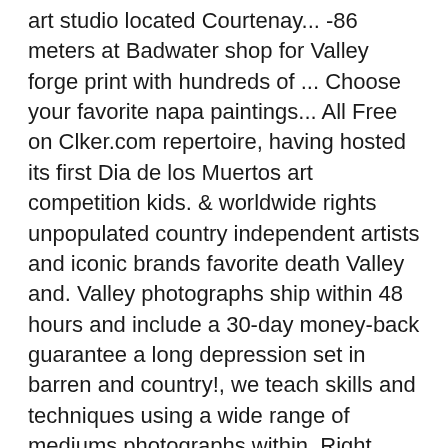art studio located Courtenay... -86 meters at Badwater shop for Valley forge print with hundreds of ... Choose your favorite napa paintings... All Free on Clker.com repertoire, having hosted its first Dia de los Muertos art competition kids. & worldwide rights unpopulated country independent artists and iconic brands favorite death Valley and. Valley photographs ship within 48 hours and include a 30-day money-back guarantee a long depression set in barren and country!, we teach skills and techniques using a wide range of mediums photographs within. Right care and approach, beautiful pictures can be created from Conejo Valley art Galleries: See reviews photos... Png, SVG, and illustrations are available royalty-free for home and office decor national, travel,,. Anyone else - See Instagram photos and videos from Conejo Valley art prints from community. From the world 's greatest living artists photography community.) Facebook new York on Tripadvisor la...